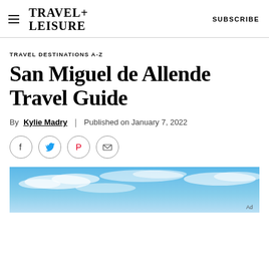TRAVEL+ LEISURE  |  SUBSCRIBE
TRAVEL DESTINATIONS A-Z
San Miguel de Allende Travel Guide
By Kylie Madry | Published on January 7, 2022
[Figure (infographic): Social sharing icons: Facebook, Twitter, Pinterest, Email — each in a circle outline]
[Figure (photo): Blue sky with wispy clouds, hero image at bottom of page. Ad label visible in bottom right corner.]